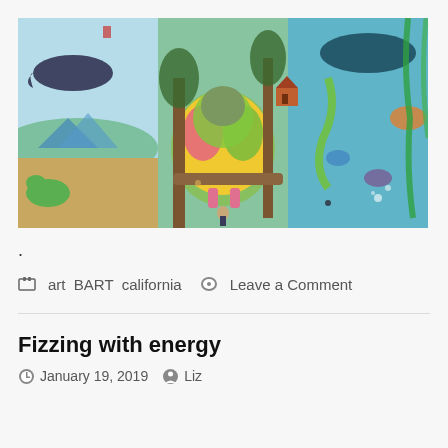[Figure (illustration): A colorful panoramic artwork depicting a fantastical scene with whales flying in the sky, dinosaurs, a large round creature covered in colorful feathers/fur in the center, trees, a treehouse, underwater marine life on the right, and a small human figure seated beneath the central creature.]
.
art  BART  california   Leave a Comment
Fizzing with energy
January 19, 2019   Liz